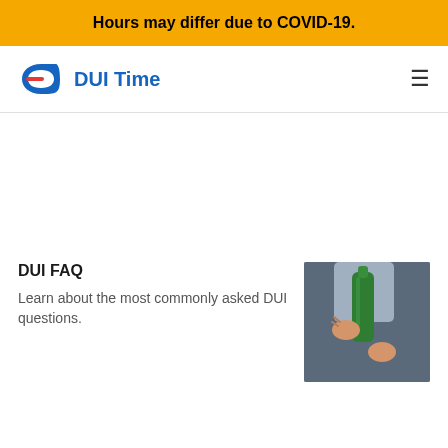Hours may differ due to COVID-19.
[Figure (logo): DUI Time logo with stylized D icon and blue text 'DUI Time']
DUI FAQ
Learn about the most commonly asked DUI questions.
[Figure (photo): Person holding a green wine bottle, opening or handling it]